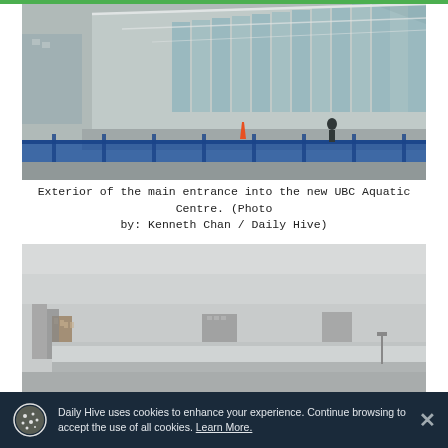[Figure (photo): Exterior of the main entrance into the new UBC Aquatic Centre. A modern glass-facade building with blue construction fencing in the foreground.]
Exterior of the main entrance into the new UBC Aquatic Centre. (Photo by: Kenneth Chan / Daily Hive)
[Figure (photo): Exterior view of the UBC Aquatic Centre roof against a grey overcast sky, with city buildings visible in the background.]
Daily Hive uses cookies to enhance your experience. Continue browsing to accept the use of all cookies. Learn More.